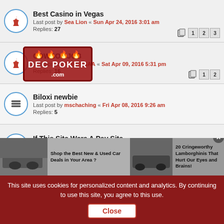Best Casino in Vegas — Last post by Sea Lion « Sun Apr 24, 2016 3:01 am — Replies: 27 — Pages: 1 2 3
COWBOY JOB — Last post by POKERSAA « Sat Apr 09, 2016 5:31 pm — Replies: 16 — Pages: 1 2
Biloxi newbie — Last post by mschaching « Fri Apr 08, 2016 9:26 am — Replies: 5
If This Site Were A Pay Site..... — Last post by eatsalotacheese « Fri Jan 22, 2016 9:32 am — Replies: 11 — Pages: 1 2
Tachi Palace California — Last post by marsville « Mon Jan 18, 2016 2:45 pm
poker — Last post by faygo « Fri Jan 08, 2016 10:06 am — Replies: 2
[Figure (screenshot): Advertisement banner: left side shows car with text 'Shop the Best New & Used Car Deals in Your Area?', right side shows Lamborghini with text '20 Cringeworthy Lamborghinis That Hurt Our Eyes and Brains!']
This site uses cookies for personalized content and analytics. By continuing to use this site, you agree to this use. Close